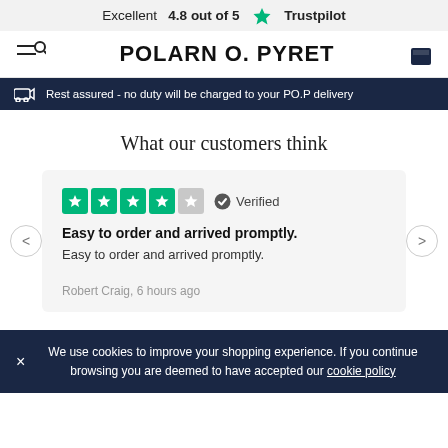Excellent  4.8 out of 5  ★ Trustpilot
POLARN O. PYRET
Rest assured - no duty will be charged to your PO.P delivery
What our customers think
Easy to order and arrived promptly.
Easy to order and arrived promptly.
Robert Craig, 6 hours ago
We use cookies to improve your shopping experience. If you continue browsing you are deemed to have accepted our cookie policy